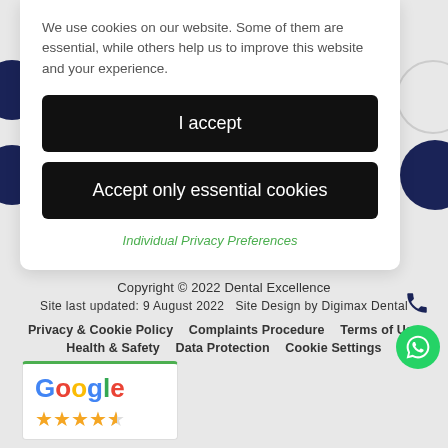We use cookies on our website. Some of them are essential, while others help us to improve this website and your experience.
I accept
Accept only essential cookies
Individual Privacy Preferences
Copyright © 2022 Dental Excellence
Site last updated: 9 August 2022   Site Design by Digimax Dental
Privacy & Cookie Policy   Complaints Procedure   Terms of Use
Health & Safety   Data Protection   Cookie Settings
[Figure (logo): Google rating widget with Google logo and 4.5 stars]